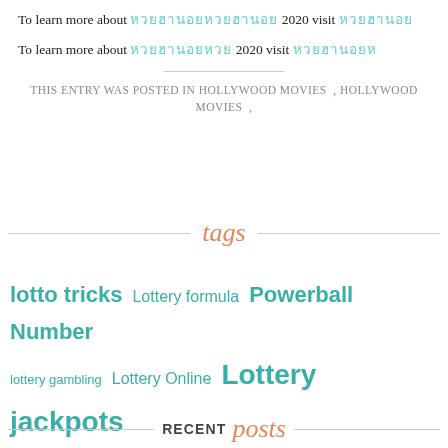To learn more about [Thai text] 2020 visit [Thai link]
To learn more about [Thai text] 2020 visit [Thai link]
THIS ENTRY WAS POSTED IN HOLLYWOOD MOVIES , HOLLYWOOD MOVIES ,
tags
lotto tricks
Lottery formula
Powerball Number
lottery gambling
Lottery Online
Lottery jackpots
Sports Online
Soccer Tips
Betting Tips
Football Tips
Sports Betting
movies online
ask4movie
hollywood movies
RECENT posts